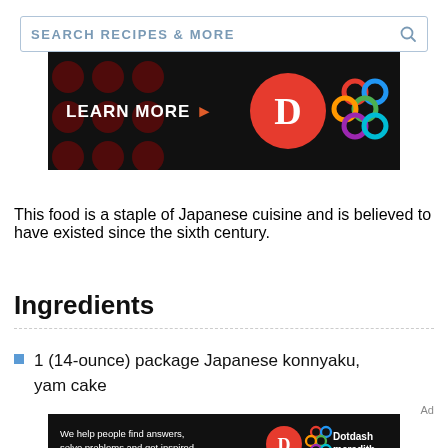[Figure (screenshot): Search bar with text 'SEARCH RECIPES & MORE' and a search icon on the right]
[Figure (infographic): Black banner advertisement with 'LEARN MORE' text and arrow, dark red dot pattern on left, red circle with white D logo and colorful knot/lattice logo on right]
This food is a staple of Japanese cuisine and is believed to have existed since the sixth century.
Ingredients
1 (14-ounce) package Japanese konnyaku, yam cake
Ad
[Figure (infographic): Black banner ad: 'We help people find answers, solve problems and get inspired.' with Dotdash Meredith logo]